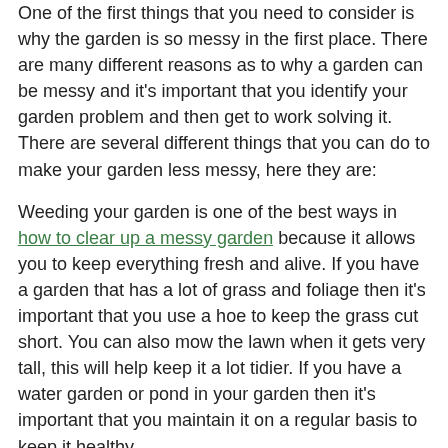One of the first things that you need to consider is why the garden is so messy in the first place. There are many different reasons as to why a garden can be messy and it's important that you identify your garden problem and then get to work solving it. There are several different things that you can do to make your garden less messy, here they are:
Weeding your garden is one of the best ways in how to clear up a messy garden because it allows you to keep everything fresh and alive. If you have a garden that has a lot of grass and foliage then it's important that you use a hoe to keep the grass cut short. You can also mow the lawn when it gets very tall, this will help keep it a lot tidier. If you have a water garden or pond in your garden then it's important that you maintain it on a regular basis to keep it healthy.
[Figure (photo): Photograph of a messy overgrown garden with debris, bare trees, and a wooden fence in the background]